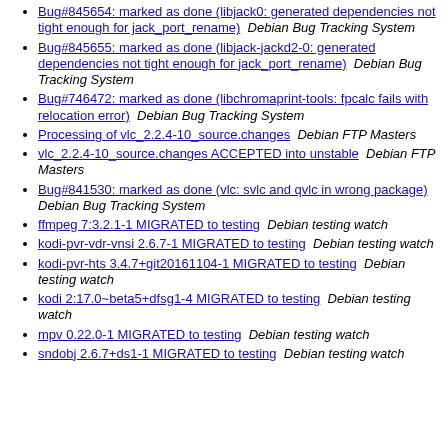Bug#845654: marked as done (libjack0: generated dependencies not tight enough for jack_port_rename)  Debian Bug Tracking System
Bug#845655: marked as done (libjack-jackd2-0: generated dependencies not tight enough for jack_port_rename)  Debian Bug Tracking System
Bug#746472: marked as done (libchromaprint-tools: fpcalc fails with relocation error)  Debian Bug Tracking System
Processing of vlc_2.2.4-10_source.changes  Debian FTP Masters
vlc_2.2.4-10_source.changes ACCEPTED into unstable  Debian FTP Masters
Bug#841530: marked as done (vlc: svlc and qvlc in wrong package)  Debian Bug Tracking System
ffmpeg 7:3.2.1-1 MIGRATED to testing  Debian testing watch
kodi-pvr-vdr-vnsi 2.6.7-1 MIGRATED to testing  Debian testing watch
kodi-pvr-hts 3.4.7+git20161104-1 MIGRATED to testing  Debian testing watch
kodi 2:17.0~beta5+dfsg1-4 MIGRATED to testing  Debian testing watch
mpv 0.22.0-1 MIGRATED to testing  Debian testing watch
sndobj 2.6.7+ds1-1 MIGRATED to testing  Debian testing watch